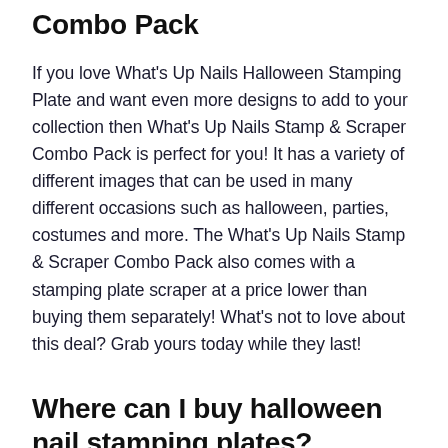Combo Pack
If you love What's Up Nails Halloween Stamping Plate and want even more designs to add to your collection then What's Up Nails Stamp & Scraper Combo Pack is perfect for you! It has a variety of different images that can be used in many different occasions such as halloween, parties, costumes and more. The What's Up Nails Stamp & Scraper Combo Pack also comes with a stamping plate scraper at a price lower than buying them separately! What's not to love about this deal? Grab yours today while they last!
Where can I buy halloween nail stamping plates?